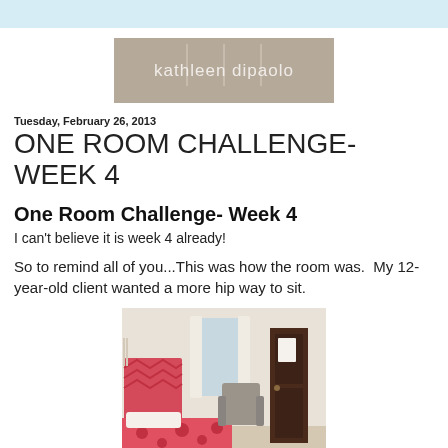[Figure (logo): Kathleen DiPaolo logo — taupe/tan rectangle with vertical dividing lines and lowercase white text 'kathleen dipaolo']
Tuesday, February 26, 2013
ONE ROOM CHALLENGE- WEEK 4
One Room Challenge- Week 4
I can't believe it is week 4 already!
So to remind all of you...This was how the room was.  My 12-year-old client wanted a more hip way to sit.
[Figure (photo): Bedroom interior photo showing a bed with red/white floral bedding, a chevron-patterned headboard, a window with curtains, a gray chair, and a dark wood door.]